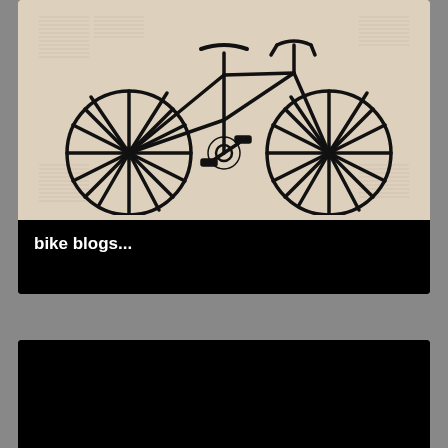[Figure (illustration): Black ink illustration of a classic bicycle (side view) printed on a newspaper/dictionary page background with pink-beige tones.]
bike blogs...
DC is canceling this weekend